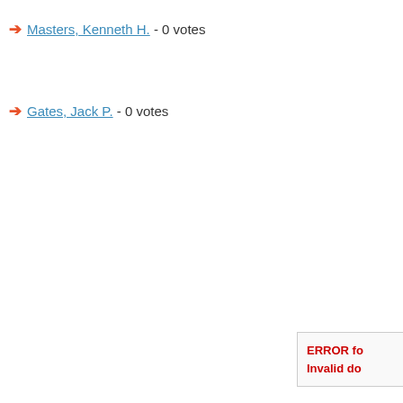➔ Masters, Kenneth H. - 0 votes
➔ Gates, Jack P. - 0 votes
ERROR fo... Invalid do...